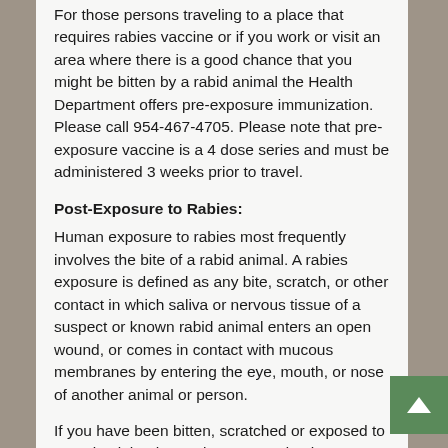For those persons traveling to a place that requires rabies vaccine or if you work or visit an area where there is a good chance that you might be bitten by a rabid animal the Health Department offers pre-exposure immunization. Please call 954-467-4705. Please note that pre-exposure vaccine is a 4 dose series and must be administered 3 weeks prior to travel.
Post-Exposure to Rabies:
Human exposure to rabies most frequently involves the bite of a rabid animal. A rabies exposure is defined as any bite, scratch, or other contact in which saliva or nervous tissue of a suspect or known rabid animal enters an open wound, or comes in contact with mucous membranes by entering the eye, mouth, or nose of another animal or person.
If you have been bitten, scratched or exposed to an animal that has or is suspected to have rabies, please go to the nearest Emergency Room for wound care